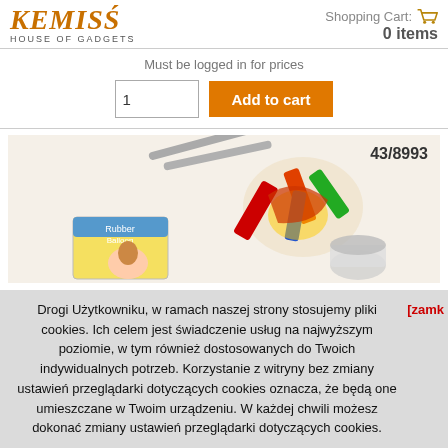[Figure (logo): Kemis House of Gadgets logo in orange italic serif font]
Shopping Cart: 0 items
Must be logged in for prices
Add to cart
[Figure (photo): Product photo on peach background showing item 43/8993 with colorful toy/gadget items including what appears to be rubber band related toys, a box with a girl on it, chopsticks, and a container]
Drogi Użytkowniku, w ramach naszej strony stosujemy pliki cookies. Ich celem jest świadczenie usług na najwyższym poziomie, w tym również dostosowanych do Twoich indywidualnych potrzeb. Korzystanie z witryny bez zmiany ustawień przeglądarki dotyczących cookies oznacza, że będą one umieszczane w Twoim urządzeniu. W każdej chwili możesz dokonać zmiany ustawień przeglądarki dotyczących cookies.
[zamk